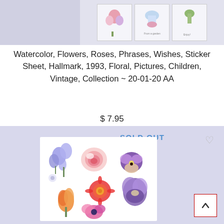[Figure (photo): Top strip showing product images: left panel is a light gray/purple area, right panel shows small thumbnail images of sticker sheets with floral and children illustrations]
Watercolor, Flowers, Roses, Phrases, Wishes, Sticker Sheet, Hallmark, 1993, Floral, Pictures, Children, Vintage, Collection ~ 20-01-20 AA
$ 7.95
[Figure (photo): Bottom product image on a lavender/purple background showing a sticker sheet with watercolor flowers: blue bell flowers, pink rose, purple pansy, red gerbera daisy, orange tulip, purple iris, and pink anemone. 'SOLD OUT' text in blue overlay at top. Heart icon at top right. Back-to-top arrow button at bottom right.]